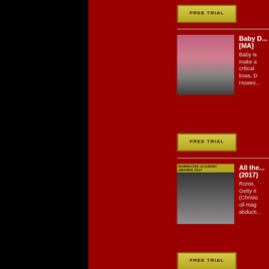[Figure (other): FREE TRIAL button - yellow/gold colored button]
[Figure (photo): Baby Driver movie poster - characters with sunglasses on pink/grey background]
Baby D... [MA]
Baby is... make a... critical... boss, D... Howev...
[Figure (other): FREE TRIAL button - yellow/gold colored button]
[Figure (photo): All the Money in the World movie poster - nominated Academy Awards 2017]
All the... (2017)
Rome,... Getty II... (Christo... oil mag... abducti...
[Figure (other): FREE TRIAL button - yellow/gold colored button]